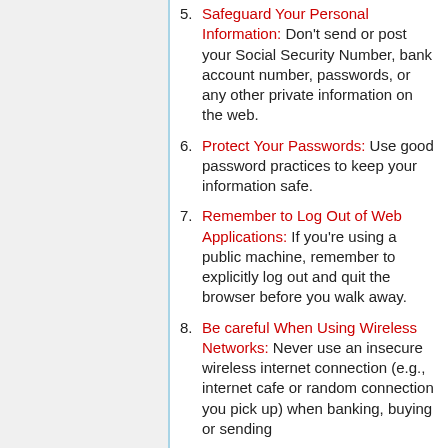5. Safeguard Your Personal Information: Don't send or post your Social Security Number, bank account number, passwords, or any other private information on the web.
6. Protect Your Passwords: Use good password practices to keep your information safe.
7. Remember to Log Out of Web Applications: If you're using a public machine, remember to explicitly log out and quit the browser before you walk away.
8. Be careful When Using Wireless Networks: Never use an insecure wireless internet connection (e.g., internet cafe or random connection you pick up) when banking, buying or sending